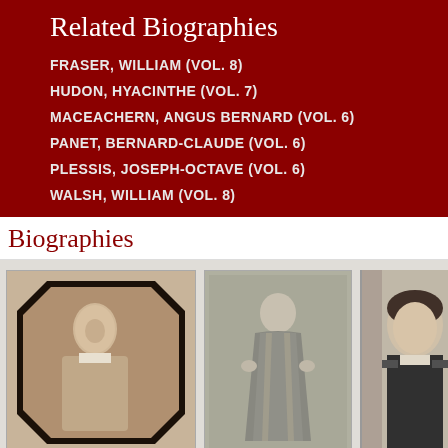Related Biographies
FRASER, WILLIAM (VOL. 8)
HUDON, HYACINTHE (VOL. 7)
MACEACHERN, ANGUS BERNARD (VOL. 6)
PANET, BERNARD-CLAUDE (VOL. 6)
PLESSIS, JOSEPH-OCTAVE (VOL. 6)
WALSH, WILLIAM (VOL. 8)
Biographies
[Figure (photo): Three historical portrait photographs/illustrations of clergymen or bishops. Left: side-profile portrait of an elderly man in clerical dress in an octagonal frame. Center: full-body portrait of a man in religious vestments. Right: partial portrait of a man in clerical collar.]